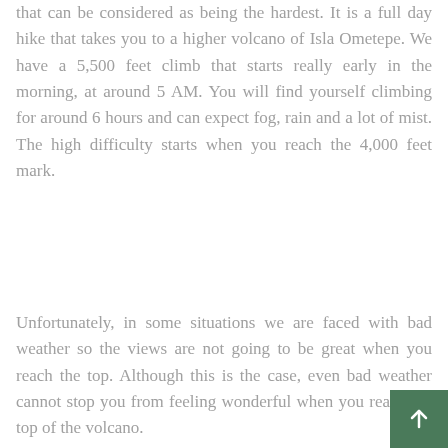that can be considered as being the hardest. It is a full day hike that takes you to a higher volcano of Isla Ometepe. We have a 5,500 feet climb that starts really early in the morning, at around 5 AM. You will find yourself climbing for around 6 hours and can expect fog, rain and a lot of mist. The high difficulty starts when you reach the 4,000 feet mark.
Unfortunately, in some situations we are faced with bad weather so the views are not going to be great when you reach the top. Although this is the case, even bad weather cannot stop you from feeling wonderful when you reach the top of the volcano.